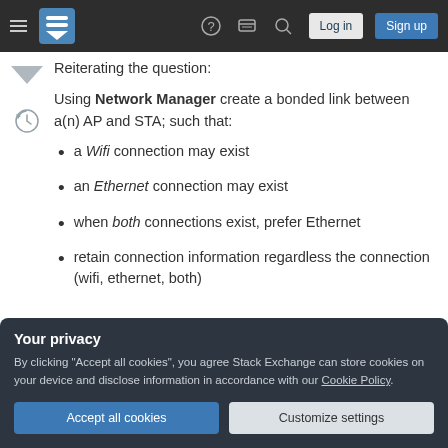Stack Exchange navigation bar with hamburger menu, logo, help, chat, search icons, Log in and Sign up buttons
Reiterating the question:
Using Network Manager create a bonded link between a(n) AP and STA; such that:
a Wifi connection may exist
an Ethernet connection may exist
when both connections exist, prefer Ethernet
retain connection information regardless the connection (wifi, ethernet, both)
Your privacy
By clicking "Accept all cookies", you agree Stack Exchange can store cookies on your device and disclose information in accordance with our Cookie Policy.
Accept all cookies  Customize settings